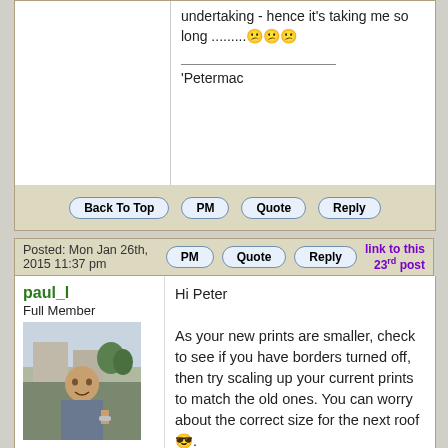undertaking - hence it's taking me so long .........😕😕😕
'Petermac
Back To Top  PM  Quote  Reply
Posted: Mon Jan 26th, 2015 11:37 pm  PM  Quote  Reply  link to this 23rd post
paul_l
Full Member
Joined: Sun May 27th, 2012
Location: Dundee, United Kingdom
Posts: 1081
Status: Offline
My photos:
[Figure (photo): Profile avatar photo of paul_l, a man outdoors]
Hi Peter

As your new prints are smaller, check to see if you have borders turned off, then try scaling up your current prints to match the old ones. You can worry about the correct size for the next roof 😎.

Paul